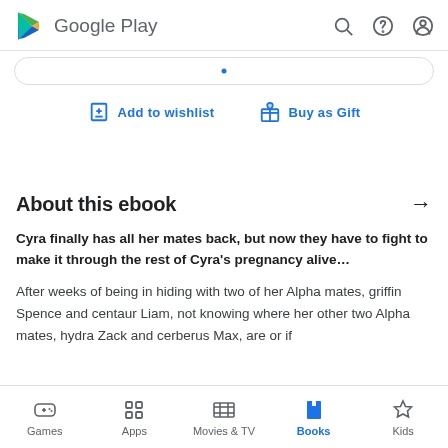Google Play
Add to wishlist   Buy as Gift
About this ebook
Cyra finally has all her mates back, but now they have to fight to make it through the rest of Cyra's pregnancy alive…
After weeks of being in hiding with two of her Alpha mates, griffin Spence and centaur Liam, not knowing where her other two Alpha mates, hydra Zack and cerberus Max, are or if
Games   Apps   Movies & TV   Books   Kids